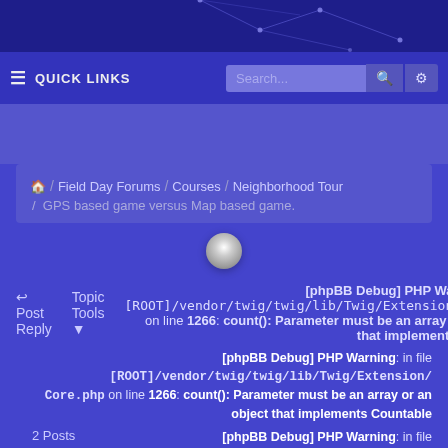[Figure (screenshot): Top banner with dark blue gradient background and decorative network/constellation line pattern]
≡ QUICK LINKS   Search...  🔍  ⚙
🏠 / Field Day Forums / Courses / Neighborhood Tour / GPS based game versus Map based game.
[Figure (other): Loading spinner circle icon]
↩ Post Reply   Topic Tools ▾   [phpBB Debug] PHP Warning: in file [ROOT]/vendor/twig/twig/lib/Twig/Extension/Core.php on line 1266: count(): Parameter must be an array or an object that implements Countable [phpBB Debug] PHP Warning: in file [ROOT]/vendor/twig/twig/lib/Twig/Extension/Core.php on line 1266: count(): Parameter must be an array or an object that implements Countable
2 Posts
[phpBB Debug] PHP Warning: in file [ROOT]/vendor/twig/twig/lib/Twig/Extension/Core.php